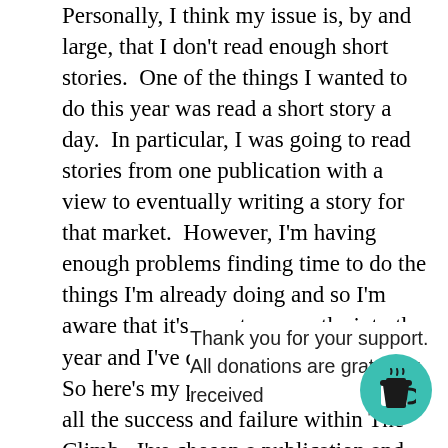Personally, I think my issue is, by and large, that I don't read enough short stories.  One of the things I wanted to do this year was read a short story a day.  In particular, I was going to read stories from one publication with a view to eventually writing a story for that market.  However, I'm having enough problems finding time to do the things I'm already doing and so I'm aware that it's now two months into the year and I've done nothing.
So here's my plan and you'll get to see all the success and failure within The Climb.  I've chosen a publication and I'm going to work towards getting a short story published in it.  I'm also going to docu[ment my journey] in The Climb - [going to read t]he stories, [writing notes, as] well as all the r[ejections and] all the m[—] The pu[blication I've chosen is Pl]ease. Skies.  There's a couple of reasons for this.  First,
Thank you for your support. All donations are gratefully received
[Figure (illustration): Teal/green circular button with a coffee cup icon (to-go cup with lid and steam lines), positioned bottom right]